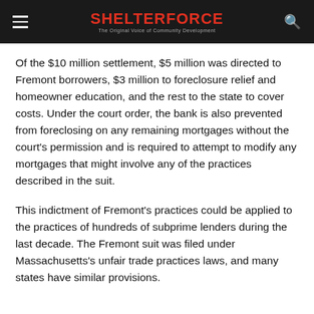SHELTERFORCE — The Original Voice of Community Development
Of the $10 million settlement, $5 million was directed to Fremont borrowers, $3 million to foreclosure relief and homeowner education, and the rest to the state to cover costs. Under the court order, the bank is also prevented from foreclosing on any remaining mortgages without the court's permission and is required to attempt to modify any mortgages that might involve any of the practices described in the suit.
This indictment of Fremont's practices could be applied to the practices of hundreds of subprime lenders during the last decade. The Fremont suit was filed under Massachusetts's unfair trade practices laws, and many states have similar provisions.